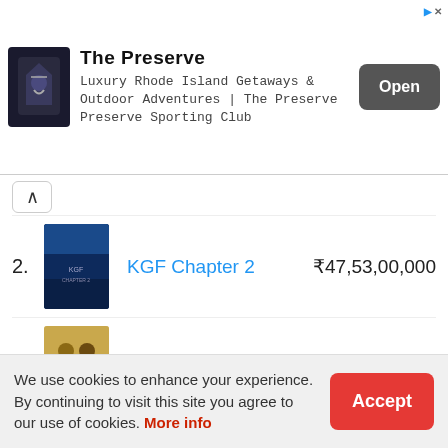[Figure (screenshot): Advertisement banner for The Preserve - Luxury Rhode Island Getaways & Outdoor Adventures | The Preserve Preserve Sporting Club, with Open button]
2. KGF Chapter 2  ₹47,53,00,000
3. Dangal  ₹44,02,00,000
See Full List
BOXOFFICE 2022
Top First Weekend Grossers India
We use cookies to enhance your experience. By continuing to visit this site you agree to our use of cookies. More info